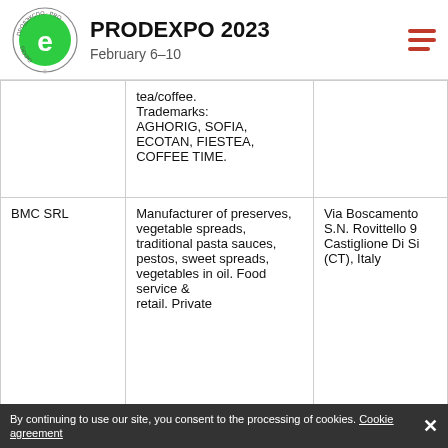PRODEXPO 2023 February 6–10
|  |  |  |
| --- | --- | --- |
|  | tea/coffee. Trademarks: AGHORIG, SOFIA, ECOTAN, FIESTEA, COFFEE TIME. |  |
| BMC SRL | Manufacturer of preserves, vegetable spreads, traditional pasta sauces, pestos, sweet spreads, vegetables in oil. Food service & retail. Private label. | Via Boscamento S.N. Rovittello 9 Castiglione Di Si (CT), Italy |
By continuing to use our site, you consent to the processing of cookies. Cookie agreement